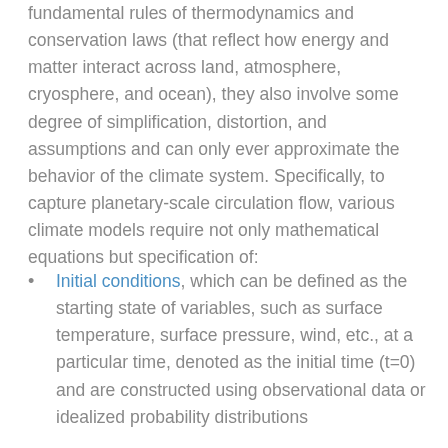fundamental rules of thermodynamics and conservation laws (that reflect how energy and matter interact across land, atmosphere, cryosphere, and ocean), they also involve some degree of simplification, distortion, and assumptions and can only ever approximate the behavior of the climate system. Specifically, to capture planetary-scale circulation flow, various climate models require not only mathematical equations but specification of:
Initial conditions, which can be defined as the starting state of variables, such as surface temperature, surface pressure, wind, etc., at a particular time, denoted as the initial time (t=0) and are constructed using observational data or idealized probability distributions